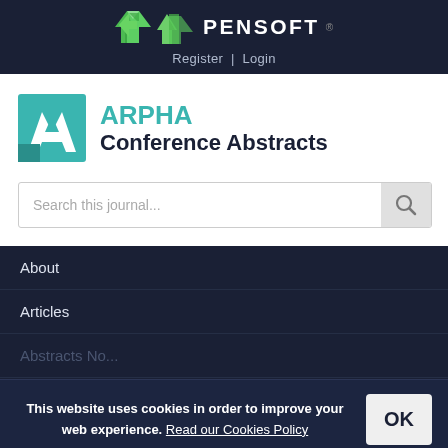[Figure (logo): Pensoft logo with green arrow icon and white bold text PENSOFT on dark navy background]
Register | Login
[Figure (logo): ARPHA Conference Abstracts logo with teal geometric A icon]
Search this journal...
About
Articles
Abstracts No...
How it Works
Editorial Team
This website uses cookies in order to improve your web experience. Read our Cookies Policy